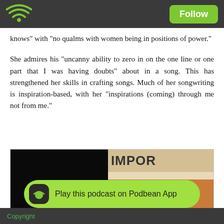Podbean app header with WiFi logo and Follow button
knows" with "no qualms with women being in positions of power."
She admires his “uncanny ability to zero in on the one line or one part that I was having doubts” about in a song. This has strengthened her skills in crafting songs. Much of her songwriting is inspiration-based, with her “inspirations (coming) through me not from me.”
[Figure (photo): Photo of Miami Sound Machine branded wooden crate or sign, with dark left half showing 'MIA' text and right side showing natural wood with 'IMPOR' and 'MIAMI SOUND MACH' text]
Copyright
Play this podcast on Podbean App